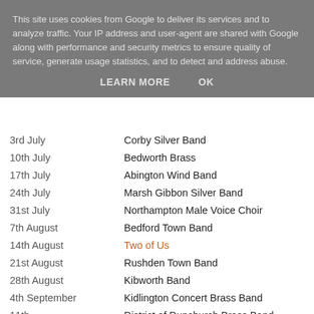This site uses cookies from Google to deliver its services and to analyze traffic. Your IP address and user-agent are shared with Google along with performance and security metrics to ensure quality of service, generate usage statistics, and to detect and address abuse.
LEARN MORE   OK
| Date | Performer |
| --- | --- |
| 3rd July | Corby Silver Band |
| 10th July | Bedworth Brass |
| 17th July | Abington Wind Band |
| 24th July | Marsh Gibbon Silver Band |
| 31st July | Northampton Male Voice Choir |
| 7th August | Bedford Town Band |
| 14th August | Two of Us |
| 21st August | Rushden Town Band |
| 28th August | Kibworth Band |
| 4th September | Kidlington Concert Brass Band |
| 11th September | District of Dunchurch Brass Band |
| 18th September | Rockin Roadrunner |